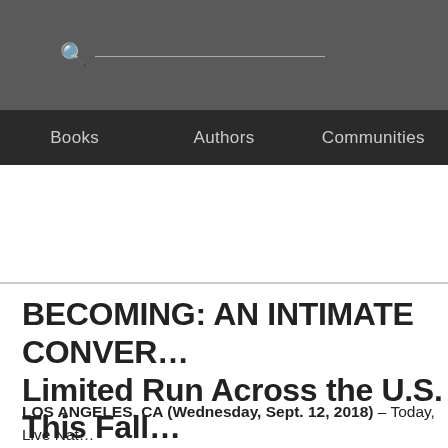Search bar and navigation: Books | Authors | Communities
BECOMING: AN INTIMATE CONVER… Limited Run Across the U.S. This Fall…
LOS ANGELES, CA (Wednesday, Sept. 12, 2018) – Today, Live Nat… dates for Michelle Obama's live U.S. book tour events in support of he… Mrs. Obama's home town of Chicago on Tuesday, November 13, and… moderators, reflective of the extraordinary stories shared in the wide-…